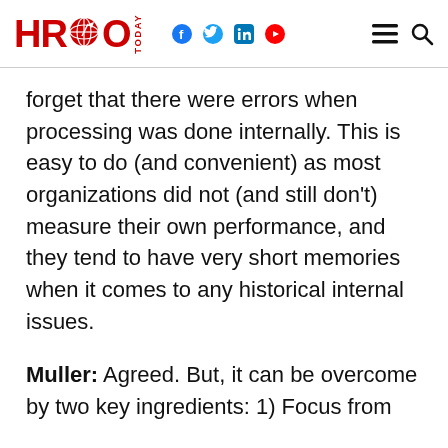HRO TODAY
forget that there were errors when processing was done internally. This is easy to do (and convenient) as most organizations did not (and still don't) measure their own performance, and they tend to have very short memories when it comes to any historical internal issues.
Muller: Agreed. But, it can be overcome by two key ingredients: 1) Focus from